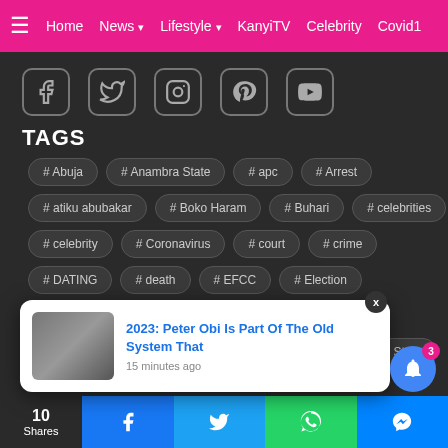Home  News  Lifestyle  KanyiTV  Celebrity  Covid1
[Figure (screenshot): Social media icons: Facebook, Twitter, Instagram, Pinterest, YouTube]
TAGS
# Abuja
# Anambra State
# apc
# Arrest
# atiku abubakar
# Boko Haram
# Buhari
# celebrities
# celebrity
# Coronavirus
# court
# crime
# DATING
# death
# EFCC
# Election
# Entertainment
# federal government
# gist
# HOLLYWOOD
# Imo state
# issues
# Lagos State
2023: Peter Obi Is Part Of The Old System That
15 minutes ago